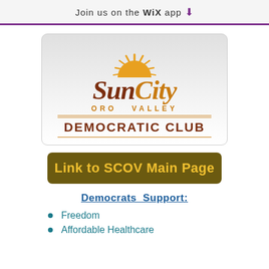Join us on the WiX app ⬇
[Figure (logo): Sun City Oro Valley Democratic Club logo with sun rays graphic, stylized cursive SunCity text, ORO VALLEY in gold caps, and DEMOCRATIC CLUB in bold dark red below gold horizontal rules]
Link to SCOV Main Page
Democrats Support:
Freedom
Affordable Healthcare